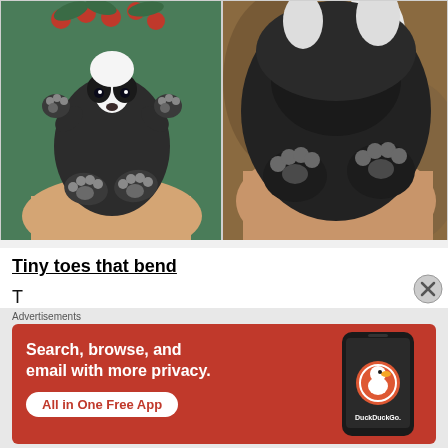[Figure (photo): Left: A felted wool badger figurine being held in a hand, showing its face, raised arms and paw pads, with red berries and green leaves in the background. Right: Close-up of a felted wool badger showing its underside paw pads and black/white fur, held in a hand.]
Tiny toes that bend
T...
Advertisements
[Figure (screenshot): DuckDuckGo advertisement banner on orange/red background. Text reads: Search, browse, and email with more privacy. All in One Free App. Shows DuckDuckGo logo and a smartphone image.]